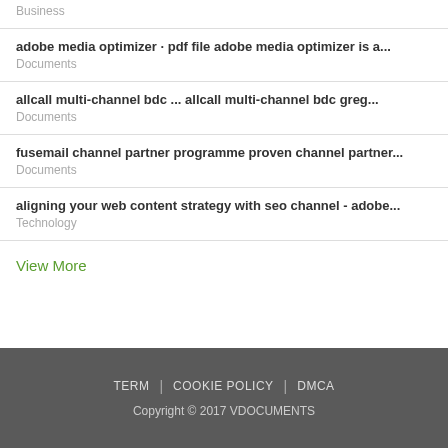Business
adobe media optimizer · pdf file adobe media optimizer is a...
Documents
allcall multi-channel bdc ... allcall multi-channel bdc greg...
Documents
fusemail channel partner programme proven channel partner...
Documents
aligning your web content strategy with seo channel - adobe...
Technology
View More
TERM | COOKIE POLICY | DMCA
Copyright © 2017 VDOCUMENTS